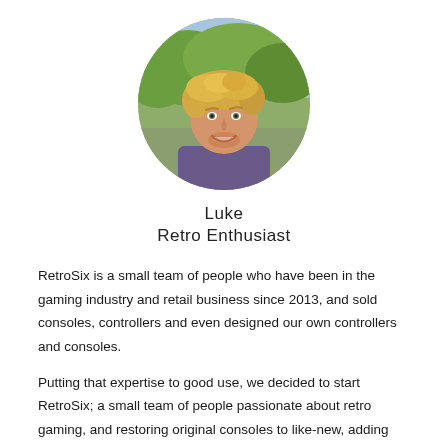[Figure (photo): Circular profile photo of a young blond man smiling, outdoors with trees in background]
Luke
Retro Enthusiast
RetroSix is a small team of people who have been in the gaming industry and retail business since 2013, and sold consoles, controllers and even designed our own controllers and consoles.
Putting that expertise to good use, we decided to start RetroSix; a small team of people passionate about retro gaming, and restoring original consoles to like-new, adding our own twist and style to them and in general bringing a modern twist to retro.